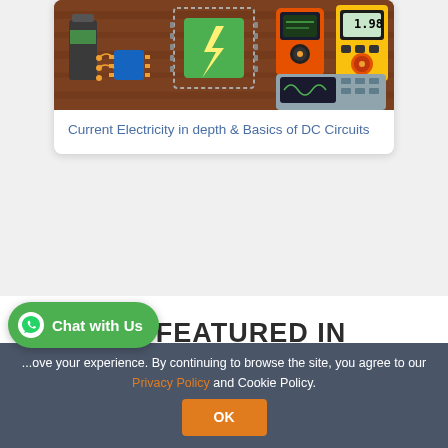[Figure (illustration): Electronics components on a dark brown wooden background: microchips, circuit boards, multimeters, batteries, and electronic instruments in colorful flat illustration style]
Current Electricity in depth & Basics of DC Circuits
WE FEATURED IN
[Figure (logo): India Today logo in bold red text]
Chat with Us
...ove your experience. By continuing to browse the site, you agree to our Privacy Policy and Cookie Policy.
OK